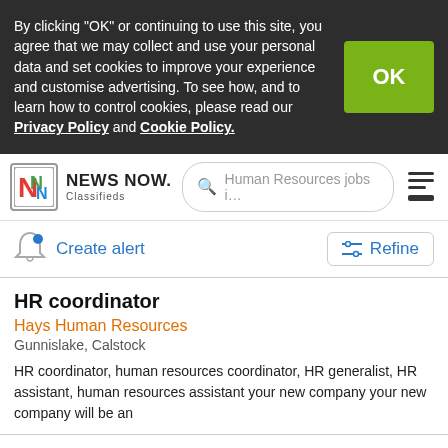By clicking “OK” or continuing to use this site, you agree that we may collect and use your personal data and set cookies to improve your experience and customise advertising. To see how, and to learn how to control cookies, please read our Privacy Policy and Cookie Policy.
[Figure (logo): NEWS NOW. Classifieds logo with colorful N icon]
Human Resources jobs i…
Create alert
Refine
HR coordinator
Hays Human Resources
Gunnislake, Calstock
HR coordinator, human resources coordinator, HR generalist, HR assistant, human resources assistant your new company your new company will be an
HR coordinator
Hays Human Resources
Torpoint, Cornwall
HR coordinator, human resources coordinator, HR generalist, HR assistant, human resources assistant your new company your new company will be an